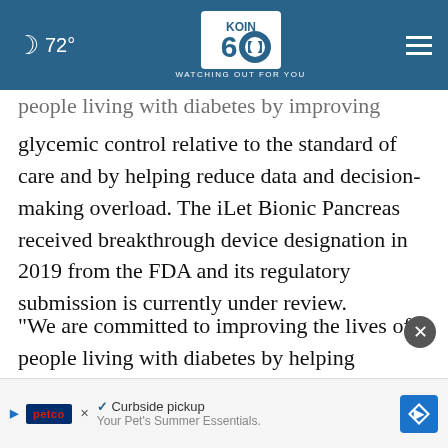72° KOIN 6 CBS — WATCHING OUT FOR YOU
people living with diabetes by improving glycemic control relative to the standard of care and by helping reduce data and decision-making overload. The iLet Bionic Pancreas received breakthrough device designation in 2019 from the FDA and its regulatory submission is currently under review.
“We are committed to improving the lives of people living with diabetes by helping to reduce the d... id Marti...
[Figure (screenshot): Petco advertisement overlay at bottom of page showing Curbside pickup and Your Pet's Summer Essentials with navigation arrow icon]